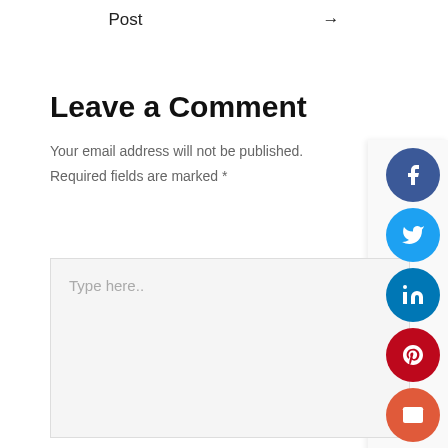Post →
Leave a Comment
Your email address will not be published. Required fields are marked *
[Figure (screenshot): Comment text area with placeholder text 'Type here..']
[Figure (infographic): Social media sharing buttons: Facebook, Twitter, LinkedIn, Pinterest, Email arranged vertically on the right side]